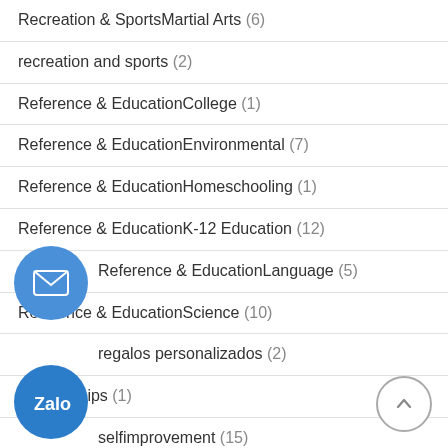Recreation & SportsMartial Arts (6)
recreation and sports (2)
Reference & EducationCollege (1)
Reference & EducationEnvironmental (7)
Reference & EducationHomeschooling (1)
Reference & EducationK-12 Education (12)
Reference & EducationLanguage (5)
Reference & EducationScience (10)
regalos personalizados (2)
relationships (1)
selfimprovement (15)
SelfImprovementCreativity (2)